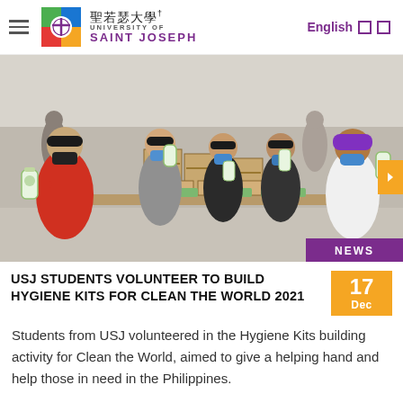University of Saint Joseph — 聖若瑟大學 | English
[Figure (photo): Students wearing masks holding hygiene kit items over a table filled with cardboard boxes and packaged supplies in a large hall. A 'NEWS' badge is shown at bottom right of photo.]
USJ STUDENTS VOLUNTEER TO BUILD HYGIENE KITS FOR CLEAN THE WORLD 2021
Students from USJ volunteered in the Hygiene Kits building activity for Clean the World, aimed to give a helping hand and help those in need in the Philippines.